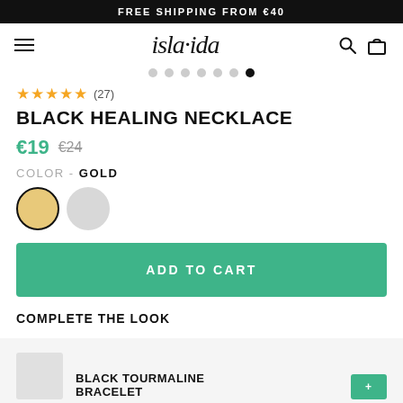FREE SHIPPING FROM €40
[Figure (logo): isla·ida brand logo with hamburger menu, search icon, and bag icon]
[Figure (other): Image pagination dots: 6 grey dots and 1 black dot (active, last position)]
★★★★★ (27)
BLACK HEALING NECKLACE
€19  €24
COLOR - GOLD
[Figure (other): Two color swatches: gold (selected, with black border) and silver/light grey]
ADD TO CART
COMPLETE THE LOOK
BLACK TOURMALINE
BRACELET